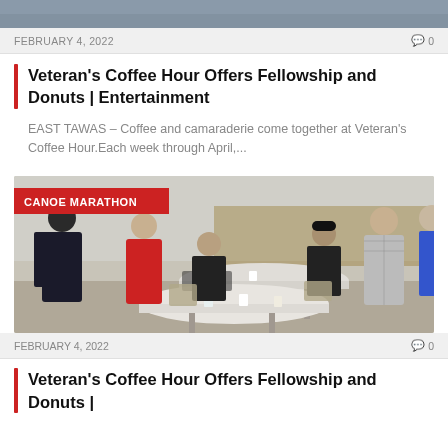[Figure (photo): Partial top strip of a photo from a previous article card, cropped]
FEBRUARY 4, 2022   0
Veteran's Coffee Hour Offers Fellowship and Donuts | Entertainment
EAST TAWAS – Coffee and camaraderie come together at Veteran's Coffee Hour.Each week through April,...
[Figure (photo): Indoor community hall scene showing several people standing and sitting around round folding tables with coffee cups. A red badge labeled 'CANOE MARATHON' is overlaid on the top-left of the photo.]
FEBRUARY 4, 2022   0
Veteran's Coffee Hour Offers Fellowship and Donuts |